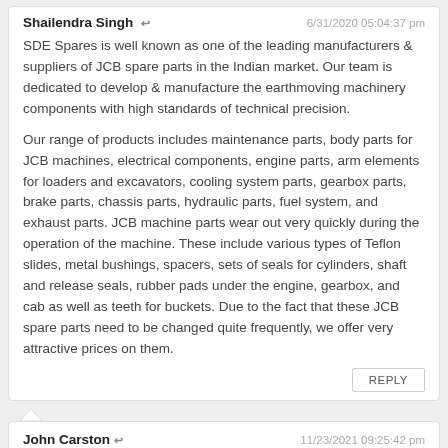Shailendra Singh ↩ 6/31/2020 05:04:37 pm
SDE Spares is well known as one of the leading manufacturers & suppliers of JCB spare parts in the Indian market. Our team is dedicated to develop & manufacture the earthmoving machinery components with high standards of technical precision.
Our range of products includes maintenance parts, body parts for JCB machines, electrical components, engine parts, arm elements for loaders and excavators, cooling system parts, gearbox parts, brake parts, chassis parts, hydraulic parts, fuel system, and exhaust parts. JCB machine parts wear out very quickly during the operation of the machine. These include various types of Teflon slides, metal bushings, spacers, sets of seals for cylinders, shaft and release seals, rubber pads under the engine, gearbox, and cab as well as teeth for buckets. Due to the fact that these JCB spare parts need to be changed quite frequently, we offer very attractive prices on them.
REPLY
John Carston ↩ 11/23/2021 09:25:42 pm